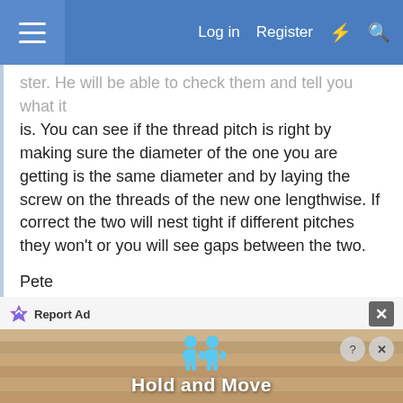Log in  Register
ster. He will be able to check them and tell you what it is. You can see if the thread pitch is right by making sure the diameter of the one you are getting is the same diameter and by laying the screw on the threads of the new one lengthwise. If correct the two will nest tight if different pitches they won't or you will see gaps between the two.

Pete
Reply
accipiter
9 Nov 2021  #9
[Figure (screenshot): Advertisement banner showing 'Hold and Move' app with cartoon figures and a striped wooden background]
Report Ad